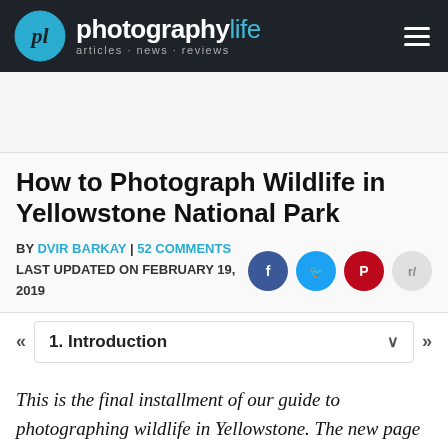photography life · articles·news·reviews
How to Photograph Wildlife in Yellowstone National Park
BY DVIR BARKAY | 52 COMMENTS
LAST UPDATED ON FEBRUARY 19, 2019
1. Introduction
This is the final installment of our guide to photographing wildlife in Yellowstone. The new page (the seventh in this guide) offers suggestions for photographing bison, pronghorn, and more animals in Lamar Valley. Or, start at the beginning to see tips for photographing wildlife in